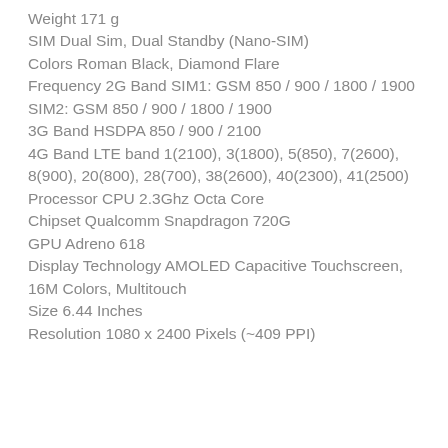Weight 171 g
SIM Dual Sim, Dual Standby (Nano-SIM)
Colors Roman Black, Diamond Flare
Frequency 2G Band SIM1: GSM 850 / 900 / 1800 / 1900
SIM2: GSM 850 / 900 / 1800 / 1900
3G Band HSDPA 850 / 900 / 2100
4G Band LTE band 1(2100), 3(1800), 5(850), 7(2600), 8(900), 20(800), 28(700), 38(2600), 40(2300), 41(2500)
Processor CPU 2.3Ghz Octa Core
Chipset Qualcomm Snapdragon 720G
GPU Adreno 618
Display Technology AMOLED Capacitive Touchscreen, 16M Colors, Multitouch
Size 6.44 Inches
Resolution 1080 x 2400 Pixels (~409 PPI)